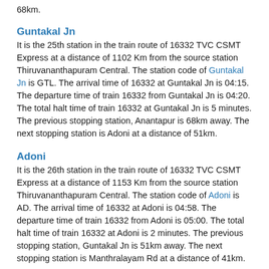68km.
Guntakal Jn
It is the 25th station in the train route of 16332 TVC CSMT Express at a distance of 1102 Km from the source station Thiruvananthapuram Central. The station code of Guntakal Jn is GTL. The arrival time of 16332 at Guntakal Jn is 04:15. The departure time of train 16332 from Guntakal Jn is 04:20. The total halt time of train 16332 at Guntakal Jn is 5 minutes. The previous stopping station, Anantapur is 68km away. The next stopping station is Adoni at a distance of 51km.
Adoni
It is the 26th station in the train route of 16332 TVC CSMT Express at a distance of 1153 Km from the source station Thiruvananthapuram Central. The station code of Adoni is AD. The arrival time of 16332 at Adoni is 04:58. The departure time of train 16332 from Adoni is 05:00. The total halt time of train 16332 at Adoni is 2 minutes. The previous stopping station, Guntakal Jn is 51km away. The next stopping station is Manthralayam Rd at a distance of 41km.